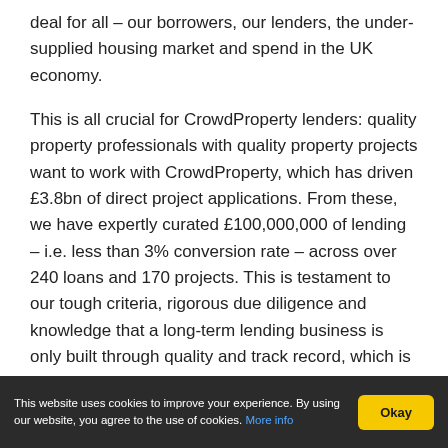deal for all – our borrowers, our lenders, the under-supplied housing market and spend in the UK economy.
This is all crucial for CrowdProperty lenders: quality property professionals with quality property projects want to work with CrowdProperty, which has driven £3.8bn of direct project applications. From these, we have expertly curated £100,000,000 of lending – i.e. less than 3% conversion rate – across over 240 loans and 170 projects. This is testament to our tough criteria, rigorous due diligence and knowledge that a long-term lending business is only built through quality and track record, which is at the heart of all that we do.
As others have temporarily closed to retail investors, stopped allowing withdrawals, cut interest rates, introduced lender fees or even had regulatory
This website uses cookies to improve your experience. By using our website, you agree to the use of cookies. More info